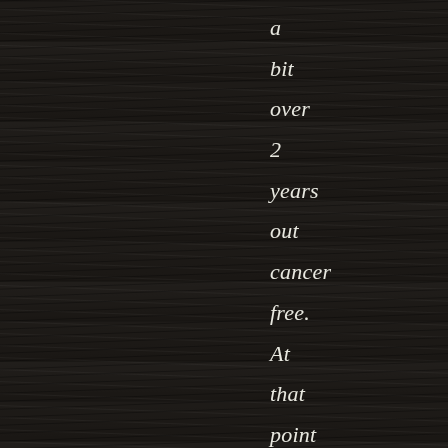[Figure (photo): Dark wood grain background texture, dark brown/black horizontal wood planks filling the entire page background.]
a bit over 2 years out cancer free. At that point I wasn't for sure what life held